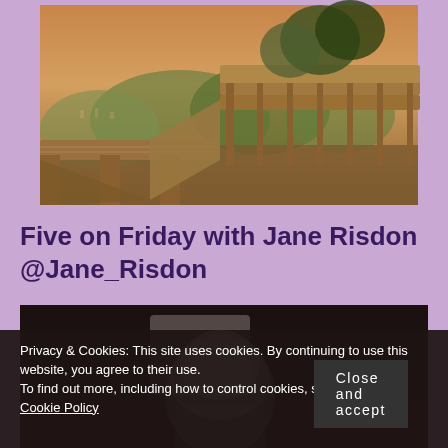[Figure (photo): Aerial/overhead view of a wooden deck or structure on a hillside with trees and a valley/cityscape view in warm golden-hour lighting]
Five on Friday with Jane Risdon @Jane_Risdon
[Figure (photo): Dark photograph partially visible, appears to show a person with light/white hair]
Privacy & Cookies: This site uses cookies. By continuing to use this website, you agree to their use.
To find out more, including how to control cookies, see here: Cookie Policy
Close and accept